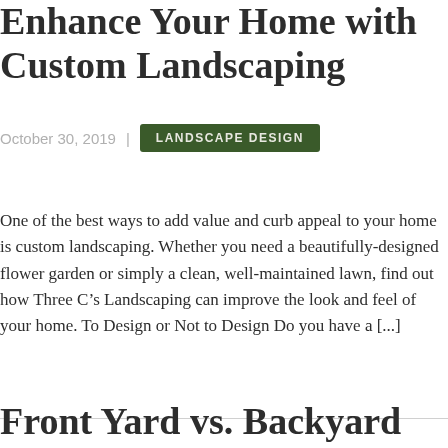Enhance Your Home with Custom Landscaping
October 30, 2019  |  LANDSCAPE DESIGN
One of the best ways to add value and curb appeal to your home is custom landscaping. Whether you need a beautifully-designed flower garden or simply a clean, well-maintained lawn, find out how Three C’s Landscaping can improve the look and feel of your home. To Design or Not to Design Do you have a [...]
Read more
Front Yard vs. Backyard